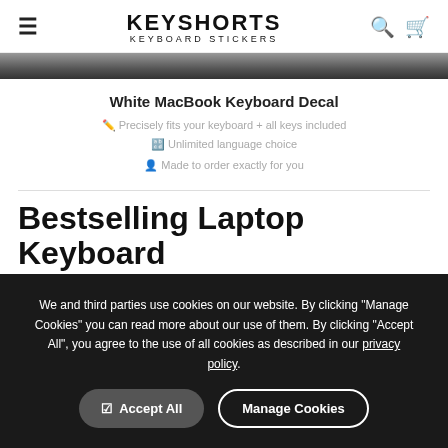KEYSHORTS KEYBOARD STICKERS
[Figure (photo): Partial product image bar showing keyboard decal product photo, cropped at top]
White MacBook Keyboard Decal
Precisely fits your keyboard + all keys included
Unlimited language choice
Made to order exactly for you
Bestselling Laptop Keyboard
We and third parties use cookies on our website. By clicking "Manage Cookies" you can read more about our use of them. By clicking "Accept All", you agree to the use of all cookies as described in our privacy policy.